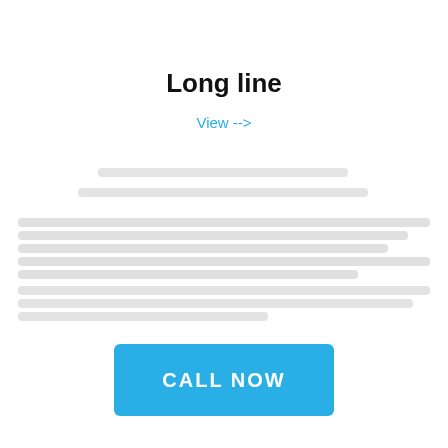Long line
View -->
[Figure (other): Blurred/redacted body text content area]
CALL NOW